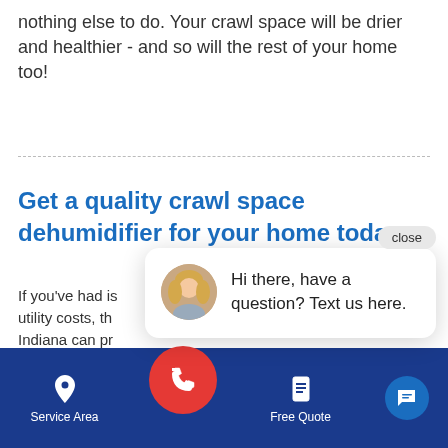nothing else to do. Your crawl space will be drier and healthier - and so will the rest of your home too!
Get a quality crawl space dehumidifier for your home today
If you've had issues with moisture, mold, or high utility costs, the crawl space experts at Indiana can provide the solution. We specialize in crawl space repair and encapsulation,
[Figure (screenshot): Chat popup overlay with a blonde woman avatar and text 'Hi there, have a question? Text us here.' with a 'close' button.]
[Figure (screenshot): Mobile bottom navigation bar with Service Area (location pin icon), red phone call button, Free Quote (document icon), and chat bubble icon on dark blue background.]